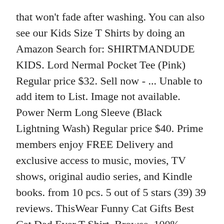that won't fade after washing. You can also see our Kids Size T Shirts by doing an Amazon Search for: SHIRTMANDUDE KIDS. Lord Nermal Pocket Tee (Pink) Regular price $32. Sell now - ... Unable to add item to List. Image not available. Power Nerm Long Sleeve (Black Lightning Wash) Regular price $40. Prime members enjoy FREE Delivery and exclusive access to music, movies, TV shows, original audio series, and Kindle books. from 10 pcs. 5 out of 5 stars (39) 39 reviews. ThisWear Funny Cat Gifts Best Cat Dad Ever T-Shirt. Browse. 100% Cotton Pocket Tee With Flipping Off Cat Inside The Pocket 2598d12d-7ed6-4207-8380-5089a9a92404 Shop All ITEMS Thank you shirtmandude! Pug you! Hea... Aliens Don't Believe in You, Either | Funny UFO Hunter Space Men Women T-Shirt-(Adu... Riot Society Creature from The Black Lagoon Kanji Mens T-Shirt - Black, X-Large. It really helps us independent artists compete with the big guys. Great service! $799. Limited Time...